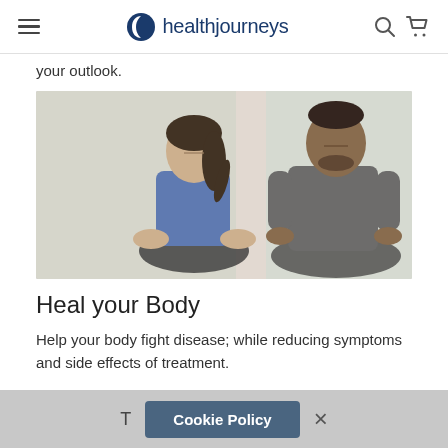healthjourneys
your outlook.
[Figure (photo): Two people sitting in meditation/yoga pose with eyes closed, a woman in a blue sports bra and a man in a grey sleeveless shirt, indoor setting with natural light]
Heal your Body
Help your body fight disease; while reducing symptoms and side effects of treatment.
T  Cookie Policy  ×